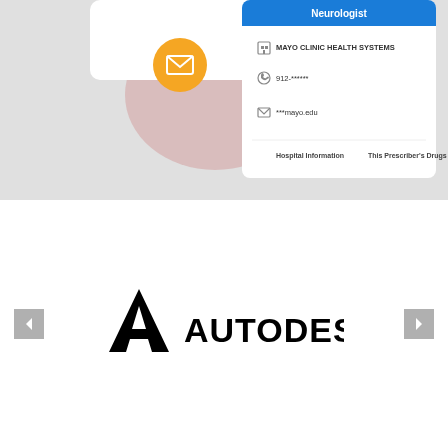[Figure (screenshot): Mobile app screenshot showing a neurologist profile card from Mayo Clinic Health Systems with contact info (phone 912-******, email ***mayo.edu), orange mail button, and links for Hospital Information and This Prescriber's Drugs]
[Figure (logo): Autodesk logo with triangular 'A' icon and AUTODESK wordmark in bold black, shown in a carousel with left and right navigation arrows]